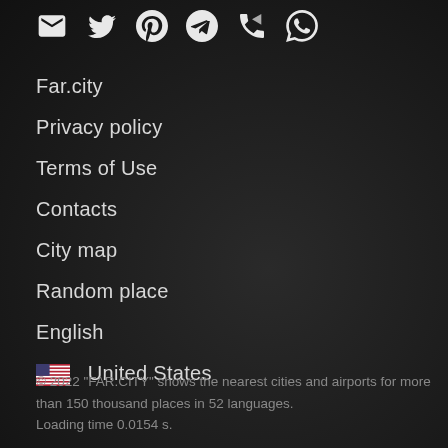[Figure (other): Row of social/share icons: Gmail, Twitter, Pinterest, Telegram, phone/call, WhatsApp]
Far.city
Privacy policy
Terms of Use
Contacts
City map
Random place
English
🇺🇸  United States
© 2022 "FAR.CITY" shows the nearest cities and airports for more than 150 thousand places in 52 languages.
Loading time 0.0154 s.